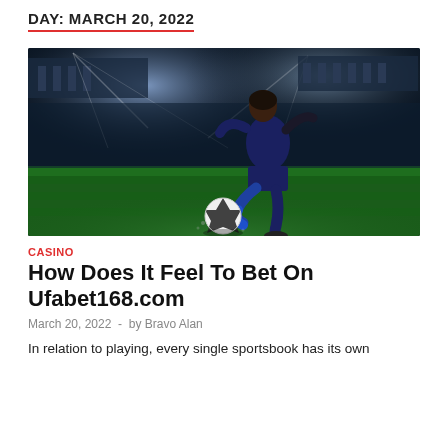DAY: MARCH 20, 2022
[Figure (photo): A soccer player in a blue uniform about to kick a soccer ball on a stadium pitch with bright floodlights in the background]
CASINO
How Does It Feel To Bet On Ufabet168.com
March 20, 2022  -  by Bravo Alan
In relation to playing, every single sportsbook has its own